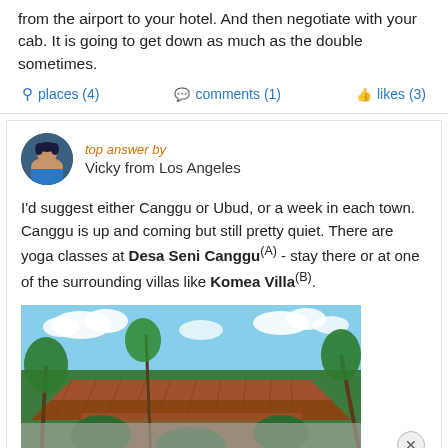from the airport to your hotel. And then negotiate with your cab. It is going to get down as much as the double sometimes.
places (4)   comments (1)   likes (3)
top answer by
Vicky from Los Angeles
I'd suggest either Canggu or Ubud, or a week in each town. Canggu is up and coming but still pretty quiet. There are yoga classes at Desa Seni Canggu(A) - stay there or at one of the surrounding villas like Komea Villa(B).
[Figure (photo): Tropical building with thatched roof surrounded by palm trees and green vegetation under blue sky with clouds]